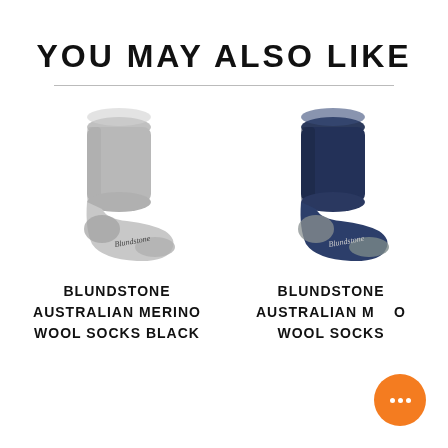YOU MAY ALSO LIKE
[Figure (photo): Gray Blundstone Australian Merino Wool sock standing upright on white background]
BLUNDSTONE AUSTRALIAN MERINO WOOL SOCKS BLACK
[Figure (photo): Navy blue Blundstone Australian Merino Wool sock standing upright on white background]
BLUNDSTONE AUSTRALIAN MERINO WOOL SOCKS